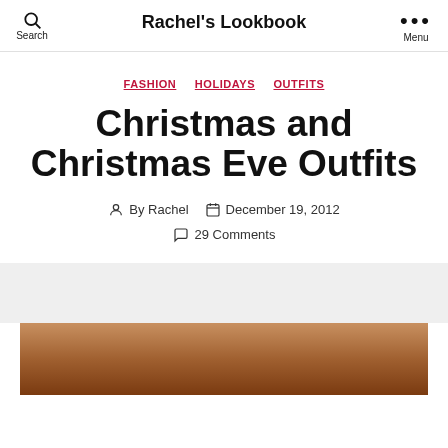Rachel's Lookbook
FASHION  HOLIDAYS  OUTFITS
Christmas and Christmas Eve Outfits
By Rachel   December 19, 2012
29 Comments
[Figure (photo): Bottom portion of a photo showing a person with reddish/auburn hair, partially cropped at the bottom of the page]